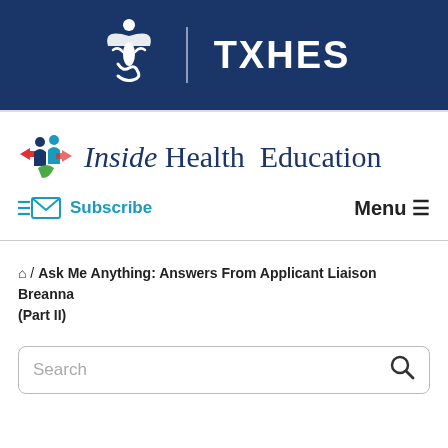[Figure (logo): TXHES logo with white figure/emblem on dark navy background header bar, with text TXHES]
[Figure (logo): Inside Health Education newsletter logo with colorful icon of people figures]
Subscribe
Menu ≡
🏠 / Ask Me Anything: Answers From Applicant Liaison Breanna (Part II)
Search